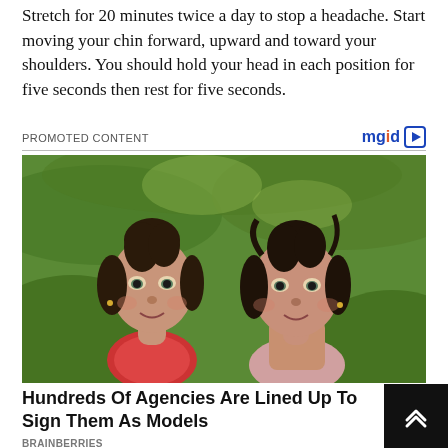Stretch for 20 minutes twice a day to stop a headache. Start moving your chin forward, upward and toward your shoulders. You should hold your head in each position for five seconds then rest for five seconds.
PROMOTED CONTENT
[Figure (photo): Two young girls with buns/messy updo hairstyles posing together outdoors against a green leafy background, both smiling at the camera]
Hundreds Of Agencies Are Lined Up To Sign Them As Models
BRAINBERRIES